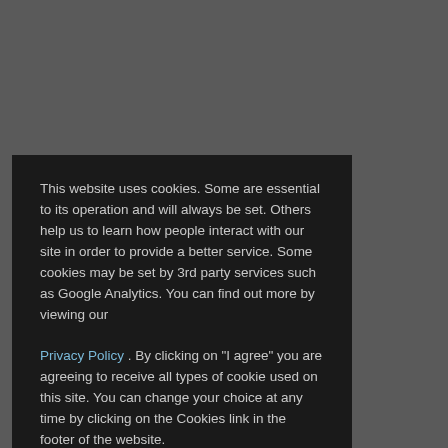[Figure (screenshot): Dark gray background with faint watermark text showing 'Nahila', 'Brea Houston', 'A limited edition of 350' on a photographic or illustrated dark background.]
This website uses cookies. Some are essential to its operation and will always be set. Others help us to learn how people interact with our site in order to provide a better service. Some cookies may be set by 3rd party services such as Google Analytics. You can find out more by viewing our Privacy Policy . By clicking on "I agree" you are agreeing to receive all types of cookie used on this site. You can change your choice at any time by clicking on the Cookies link in the footer of the website.
Change settings
I agree